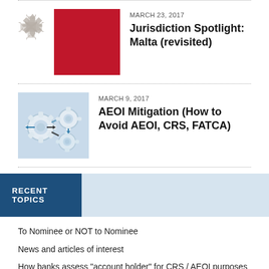[Figure (illustration): Malta cross icon (gray) and red rectangle representing Malta flag]
MARCH 23, 2017
Jurisdiction Spotlight: Malta (revisited)
[Figure (photo): Interconnected gear/puzzle pieces with arrows, blue and white tones]
MARCH 9, 2017
AEOI Mitigation (How to Avoid AEOI, CRS, FATCA)
RECENT TOPICS
To Nominee or NOT to Nominee
News and articles of interest
How banks assess "account holder" for CRS / AEOI purposes
Payment Processing – "Gordian Knot"
Limiting the possibility of Copyright Protection Orders